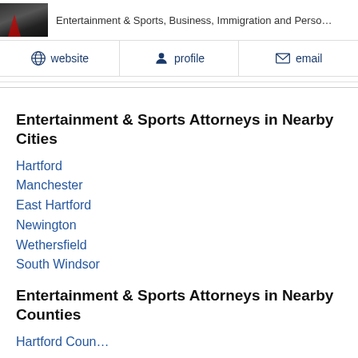Entertainment & Sports, Business, Immigration and Perso…
website  profile  email
Entertainment & Sports Attorneys in Nearby Cities
Hartford
Manchester
East Hartford
Newington
Wethersfield
South Windsor
Entertainment & Sports Attorneys in Nearby Counties
Hartford County